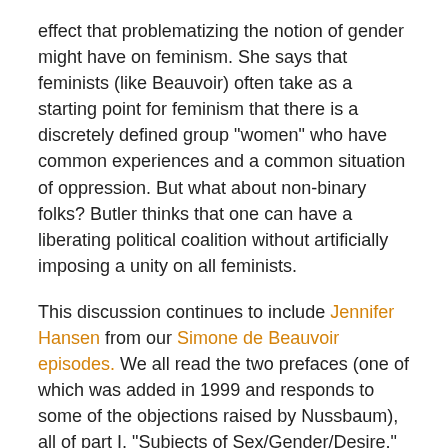effect that problematizing the notion of gender might have on feminism. She says that feminists (like Beauvoir) often take as a starting point for feminism that there is a discretely defined group "women" who have common experiences and a common situation of oppression. But what about non-binary folks? Butler thinks that one can have a liberating political coalition without artificially imposing a unity on all feminists.
This discussion continues to include Jennifer Hansen from our Simone de Beauvoir episodes. We all read the two prefaces (one of which was added in 1999 and responds to some of the objections raised by Nussbaum), all of part I, "Subjects of Sex/Gender/Desire," part III, section iv: "Subversive Bodily Acts: Bodily Inscriptions, Performative Subversions," and the conclusion. Buy the book.
This discussion is being released in three parts: get the